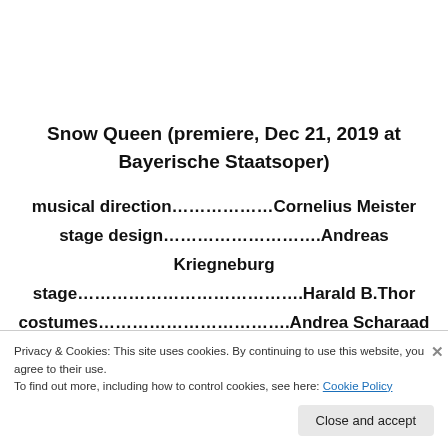Snow Queen (premiere, Dec 21, 2019 at Bayerische Staatsoper)
musical direction………………Cornelius Meister
stage design……………………….Andreas Kriegneburg
stage………………………………….Harald B.Thor
costumes…………………………….Andrea Scharaad
Privacy & Cookies: This site uses cookies. By continuing to use this website, you agree to their use. To find out more, including how to control cookies, see here: Cookie Policy